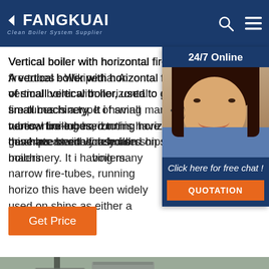[Figure (logo): Fangkuai logo with arrow icon and tagline 'Clean Boiler System Supplier' on dark blue header background with search and menu icons]
Vertical boiler with horizontal fire-tubes - Wikipedia. A vertical boiler with horizontal fire-tubes is a type of small vertical boiler, used to generate steam for small machinery. It is distinguished by having many narrow fire-tubes, running horizontally. Boilers of this have been widely used on ships as either a boilers.
[Figure (photo): 24/7 Online chat widget showing a female customer service agent wearing a headset, with 'Click here for free chat!' text and an orange QUOTATION button, on dark blue background]
[Figure (photo): Industrial boiler machinery photo showing large metal equipment with pipes and ducts in an industrial setting, with an orange TOP button in the bottom right corner]